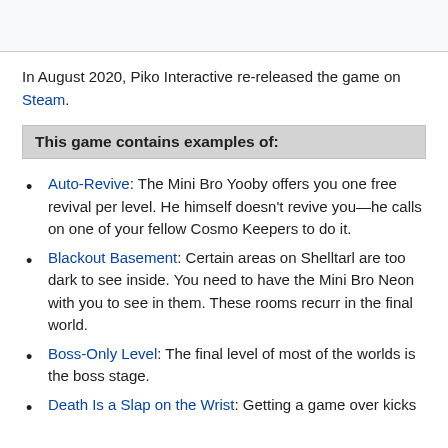In August 2020, Piko Interactive re-released the game on Steam.
This game contains examples of:
Auto-Revive: The Mini Bro Yooby offers you one free revival per level. He himself doesn't revive you—he calls on one of your fellow Cosmo Keepers to do it.
Blackout Basement: Certain areas on Shelltarl are too dark to see inside. You need to have the Mini Bro Neon with you to see in them. These rooms recurr in the final world.
Boss-Only Level: The final level of most of the worlds is the boss stage.
Death Is a Slap on the Wrist: Getting a game over kicks